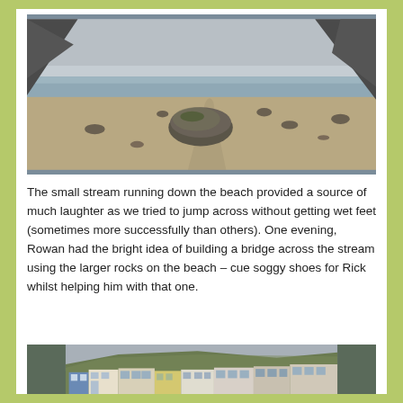[Figure (photo): A beach at low tide with sandy shore, scattered rocks including a large rock in the foreground, calm grey sea, overcast sky, and rocky cliffs visible on the left and right.]
The small stream running down the beach provided a source of much laughter as we tried to jump across without getting wet feet (sometimes more successfully than others). One evening, Rowan had the bright idea of building a bridge across the stream using the larger rocks on the beach – cue soggy shoes for Rick whilst helping him with that one.
[Figure (photo): A coastal village with white and coloured buildings visible at the base of a large green hillside under an overcast sky.]